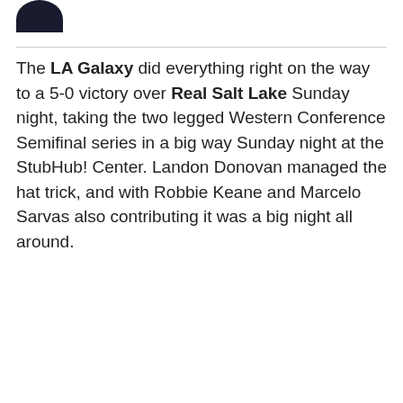[Figure (logo): Dark circular logo, half-circle shape at top left]
The LA Galaxy did everything right on the way to a 5-0 victory over Real Salt Lake Sunday night, taking the two legged Western Conference Semifinal series in a big way Sunday night at the StubHub! Center. Landon Donovan managed the hat trick, and with Robbie Keane and Marcelo Sarvas also contributing it was a big night all around.